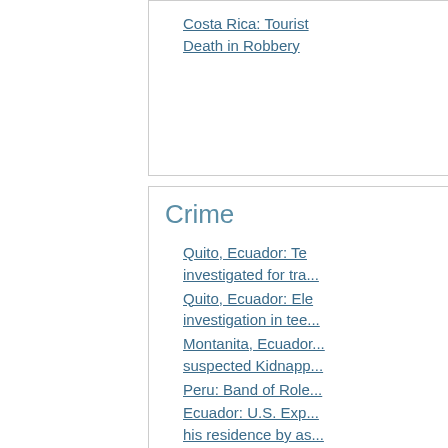Costa Rica: Tourist Death in Robbery
Crime
Quito, Ecuador: Te... investigated for tra...
Quito, Ecuador: Ele... investigation in tee...
Montanita, Ecuador... suspected Kidnapp...
Peru: Band of Role...
Ecuador: U.S. Exp... his residence by as...
Culture
Ecuador: Expat fro... contributed to builo...
Quito, Ecuador: Hi...
Guayaquil Ecuador... piñata: an integral...
How to understand...